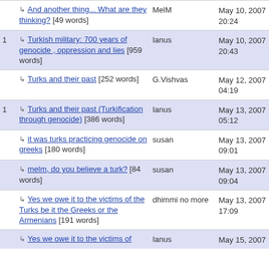| # | Title | Author | Date |
| --- | --- | --- | --- |
|  | ↳ And another thing... What are they thinking? [49 words] | MelM | May 10, 2007 20:24 |
| 1 | ↳ Turkish military: 700 years of genocide , oppression and lies [959 words] | Ianus | May 10, 2007 20:43 |
|  | ↳ Turks and their past [252 words] | G.Vishvas | May 12, 2007 04:19 |
| 1 | ↳ Turks and their past (Turkification through genocide) [386 words] | Ianus | May 13, 2007 05:12 |
|  | ↳ it was turks practicing genocide on greeks [180 words] | susan | May 13, 2007 09:01 |
|  | ↳ melm, do you believe a turk? [84 words] | susan | May 13, 2007 09:04 |
|  | ↳ Yes we owe it to the victims of the Turks be it the Greeks or the Armenians [191 words] | dhimmi no more | May 13, 2007 17:09 |
|  | ↳ Yes we owe it to the victims of | Ianus | May 15, 2007 |